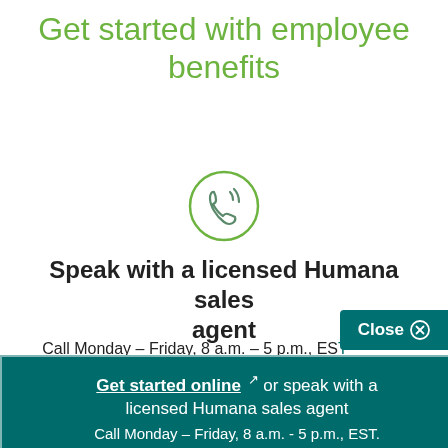Get started with employee benefits
[Figure (illustration): Green circle with phone/call icon inside]
Speak with a licensed Humana sales agent
Call Monday – Friday, 8 a.m. – 5 p.m., EST.
Close ✕
Get started online ↗ or speak with a licensed Humana sales agent
Call Monday – Friday, 8 a.m. - 5 p.m., EST.
1-844-325-2813 | (TTY: 711)
About Group Health Benefits